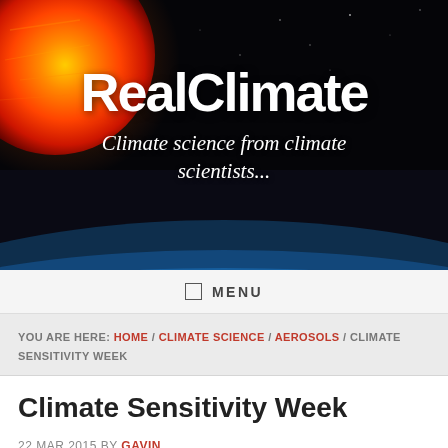[Figure (photo): RealClimate website banner with an orange sun/fireball on upper left, black space background, Earth's atmosphere arc at bottom with blue atmosphere glow and white clouds. White text reads 'RealClimate' in bold and italic subtitle 'Climate science from climate scientists...']
☰  MENU
YOU ARE HERE: HOME / CLIMATE SCIENCE / AEROSOLS / CLIMATE SENSITIVITY WEEK
Climate Sensitivity Week
22 MAR 2015 BY GAVIN